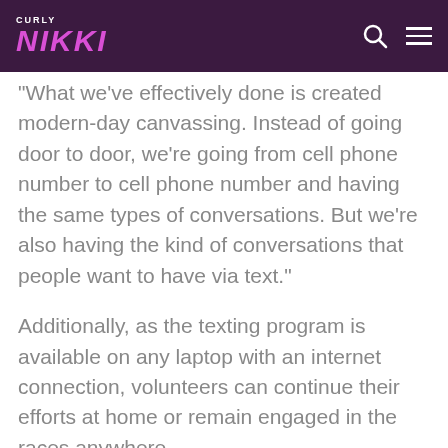CURLY NIKKI
"What we've effectively done is created modern-day canvassing. Instead of going door to door, we're going from cell phone number to cell phone number and having the same types of conversations. But we're also having the kind of conversations that people want to have via text."
Additionally, as the texting program is available on any laptop with an internet connection, volunteers can continue their efforts at home or remain engaged in the races anywhere.